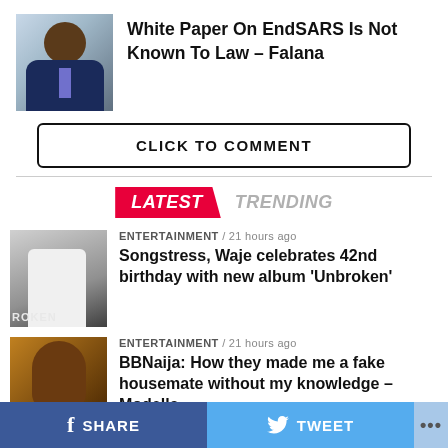[Figure (photo): Photo of a man in a blue suit with a purple tie, appearing to speak or gesture]
White Paper On EndSARS Is Not Known To Law – Falana
CLICK TO COMMENT
LATEST   TRENDING
[Figure (photo): Thumbnail of Waje in white outfit with angel wings for Unbroken album]
ENTERTAINMENT / 21 hours ago
Songstress, Waje celebrates 42nd birthday with new album 'Unbroken'
[Figure (photo): Thumbnail of Modella, a Nigerian woman]
ENTERTAINMENT / 21 hours ago
BBNaija: How they made me a fake housemate without my knowledge – Modella
f  SHARE    TWEET   ...